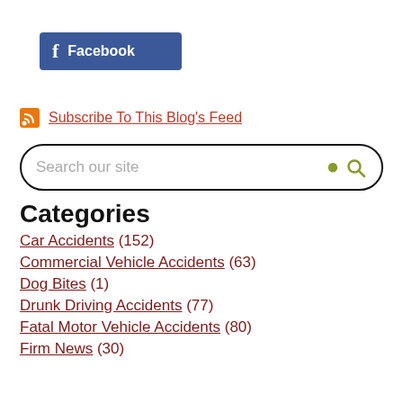[Figure (logo): Facebook button with 'f' icon and 'Facebook' text on blue background]
Subscribe To This Blog's Feed
Search our site
Categories
Car Accidents (152)
Commercial Vehicle Accidents (63)
Dog Bites (1)
Drunk Driving Accidents (77)
Fatal Motor Vehicle Accidents (80)
Firm News (30)